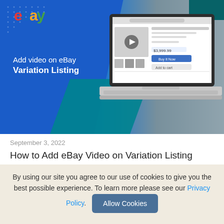[Figure (screenshot): eBay branded hero banner showing the eBay logo, text 'Add video on eBay Variation Listing', and a laptop displaying an eBay product listing page with video thumbnail]
September 3, 2022
How to Add eBay Video on Variation Listing Using New eBay Listing Tool ..
Representing your products appropriately to your
By using our site you agree to our use of cookies to give you the best possible experience. To learn more please see our Privacy Policy.
Allow Cookies